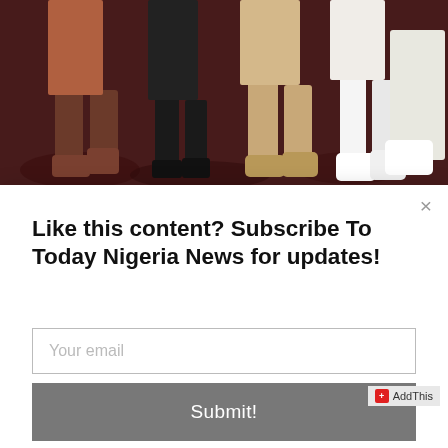[Figure (photo): Photo showing legs and feet of several people standing on a patterned carpet/rug, wearing various shoes and trousers.]
Like this content? Subscribe To Today Nigeria News for updates!
Your email
Submit!
making. Apart from in Australia, where I thought they were